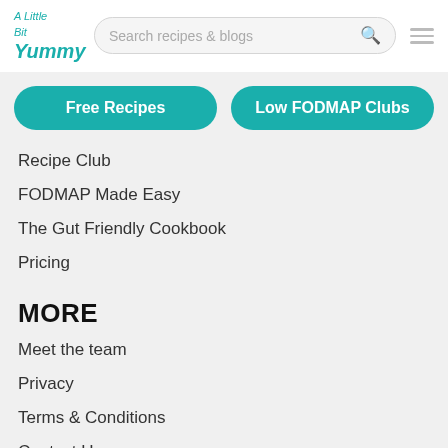A Little Bit Yummy — Search recipes & blogs
Free Recipes
Low FODMAP Clubs
Recipe Club
FODMAP Made Easy
The Gut Friendly Cookbook
Pricing
MORE
Meet the team
Privacy
Terms & Conditions
Contact Us